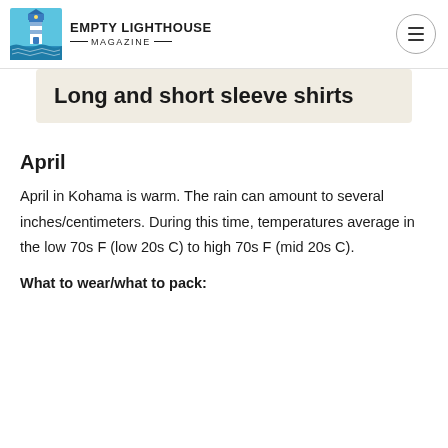EMPTY LIGHTHOUSE MAGAZINE
Long and short sleeve shirts
April
April in Kohama is warm. The rain can amount to several inches/centimeters. During this time, temperatures average in the low 70s F (low 20s C) to high 70s F (mid 20s C).
What to wear/what to pack: